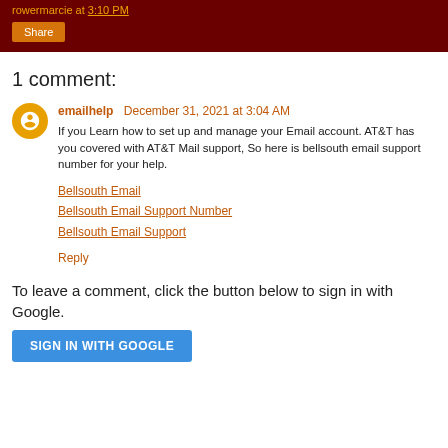rowermarcie at 3:10 PM
1 comment:
emailhelp December 31, 2021 at 3:04 AM
If you Learn how to set up and manage your Email account. AT&T has you covered with AT&T Mail support, So here is bellsouth email support number for your help.
Bellsouth Email
Bellsouth Email Support Number
Bellsouth Email Support
Reply
To leave a comment, click the button below to sign in with Google.